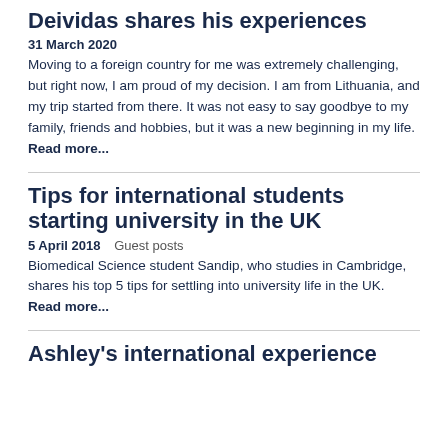Deividas shares his experiences
31 March 2020
Moving to a foreign country for me was extremely challenging, but right now, I am proud of my decision. I am from Lithuania, and my trip started from there. It was not easy to say goodbye to my family, friends and hobbies, but it was a new beginning in my life. Read more...
Tips for international students starting university in the UK
5 April 2018   Guest posts
Biomedical Science student Sandip, who studies in Cambridge, shares his top 5 tips for settling into university life in the UK. Read more...
Ashley's international experience